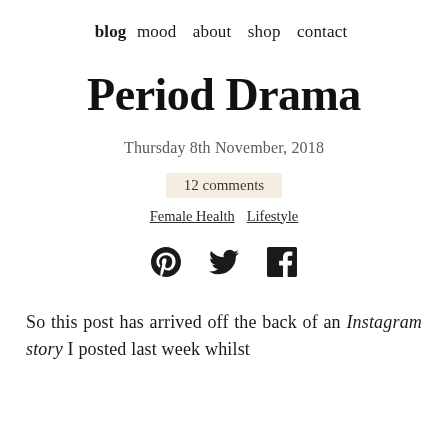blog  mood  about  shop  contact
Period Drama
Thursday 8th November, 2018
12 comments
Female Health   Lifestyle
[Figure (infographic): Social media sharing icons: Pinterest (circle with P), Twitter (bird), Facebook (f)]
So this post has arrived off the back of an Instagram story I posted last week whilst